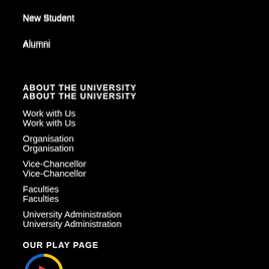New Student
Alumni
ABOUT THE UNIVERSITY
Work with Us
Organisation
Vice-Chancellor
Faculties
University Administration
OUR PLAY PAGE
[Figure (other): Play button icon — circular icon with blue and yellow arc border and red triangle play symbol in the center on black background]
CONTACT
Htt...